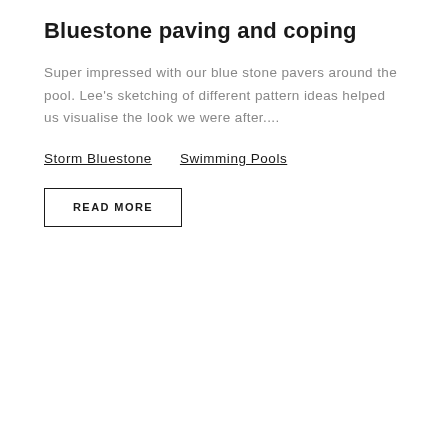Bluestone paving and coping
Super impressed with our blue stone pavers around the pool. Lee's sketching of different pattern ideas helped us visualise the look we were after....
Storm Bluestone
Swimming Pools
READ MORE